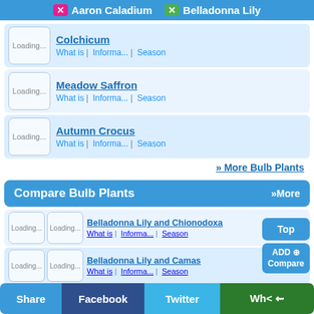Aaron Caladium | Belladonna Lily
Colchicum — What is | Informa... | Season
Meadow Saffron — What is | Informa... | Season
Autumn Crocus — What is | Informa... | Season
» More Bulb Plants
Compare Bulb Plants »More
Belladonna Lily and Chionodoxa — What is | Informa... | Season
Belladonna Lily and Camas — What is | Informa... | Season
Belladonna Lily and Canna — What is | Informa... | Season
Share | Facebook | Twitter | Wh<